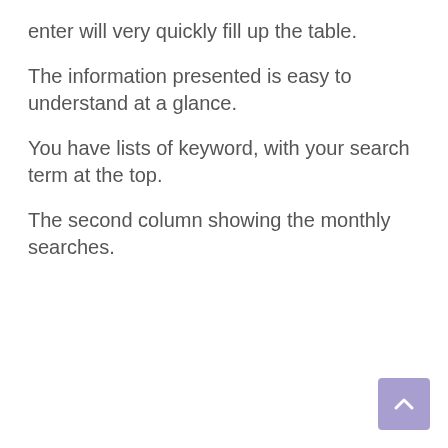enter will very quickly fill up the table.
The information presented is easy to understand at a glance.
You have lists of keyword, with your search term at the top.
The second column showing the monthly searches.